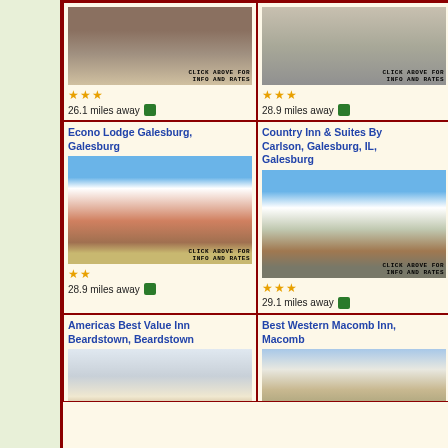[Figure (photo): Hotel room or store shelves photo - top left partial cell]
CLICK ABOVE FOR INFO AND RATES
26.1 miles away
[Figure (photo): Fairfield Inn exterior photo - top right partial cell]
CLICK ABOVE FOR INFO AND RATES
28.9 miles away
Econo Lodge Galesburg, Galesburg
[Figure (photo): Econo Lodge Galesburg exterior photo]
CLICK ABOVE FOR INFO AND RATES
28.9 miles away
Country Inn & Suites By Carlson, Galesburg, IL, Galesburg
[Figure (photo): Country Inn & Suites exterior photo]
CLICK ABOVE FOR INFO AND RATES
29.1 miles away
Americas Best Value Inn Beardstown, Beardstown
[Figure (photo): Americas Best Value Inn interior pool photo]
Best Western Macomb Inn, Macomb
[Figure (photo): Best Western Macomb Inn exterior photo]